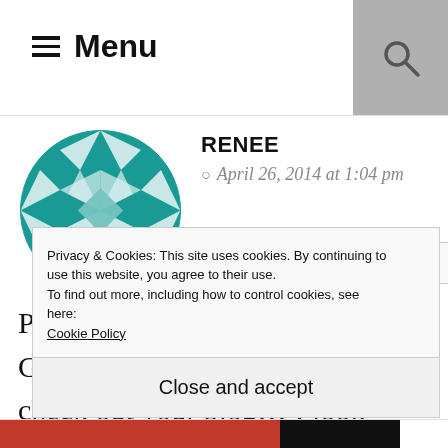Menu
RENEE
April 26, 2014 at 1:04 pm
Picked up my copy of Country Gardens this morning, came to check out your blog!!! I look forward to adding it to my
Privacy & Cookies: This site uses cookies. By continuing to use this website, you agree to their use.
To find out more, including how to control cookies, see here: Cookie Policy
Close and accept